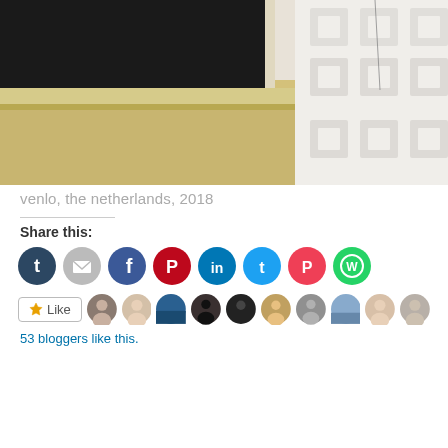[Figure (photo): Architectural photograph showing a building facade with yellow/tan lower section and a black window/dark area on the left, alongside a white modern building with square geometric relief patterns on the right, taken in Venlo, the Netherlands, 2018]
venlo, the netherlands, 2018
Share this:
[Figure (infographic): Row of social media sharing icon buttons: Tumblr (dark blue), Email (grey), Facebook (blue), Pinterest (red), LinkedIn (blue), Twitter (cyan/blue), Pocket (red/pink), WhatsApp (green)]
[Figure (infographic): Like button with star icon and a strip of blogger avatar thumbnails. Text: 53 bloggers like this.]
53 bloggers like this.